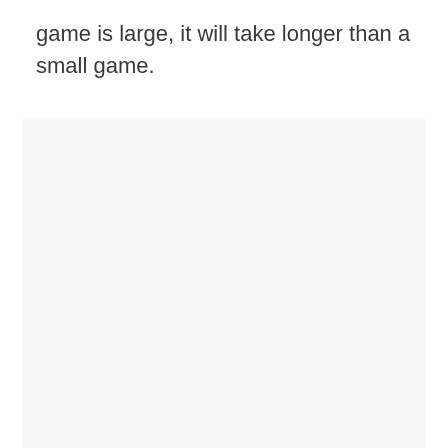game is large, it will take longer than a small game.
[Figure (other): Light grey/off-white empty rectangular box occupying the lower portion of the page]